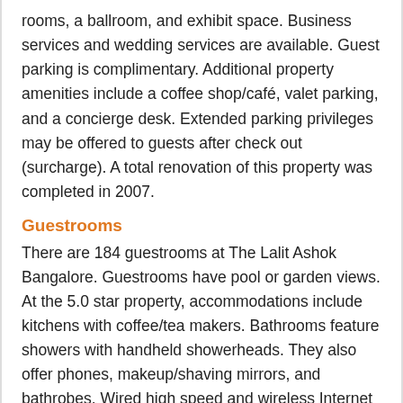rooms, a ballroom, and exhibit space. Business services and wedding services are available. Guest parking is complimentary. Additional property amenities include a coffee shop/café, valet parking, and a concierge desk. Extended parking privileges may be offered to guests after check out (surcharge). A total renovation of this property was completed in 2007.
Guestrooms
There are 184 guestrooms at The Lalit Ashok Bangalore. Guestrooms have pool or garden views. At the 5.0 star property, accommodations include kitchens with coffee/tea makers. Bathrooms feature showers with handheld showerheads. They also offer phones, makeup/shaving mirrors, and bathrobes. Wired high speed and wireless Internet access is available for a surcharge. In addition to desks and